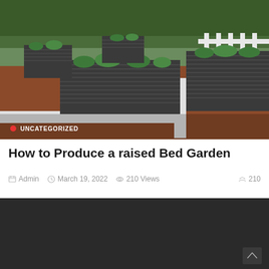[Figure (photo): Raised bed garden with multiple dark grey corrugated metal raised beds filled with green plants, set on red mulch ground, with white fence border and trees in background. Red dot category label 'UNCATEGORIZED' overlaid at bottom left.]
How to Produce a raised Bed Garden
Admin  March 19, 2022  210 Views  210
[Figure (photo): Dark/black image area, second article photo not yet loaded or very dark scene.]